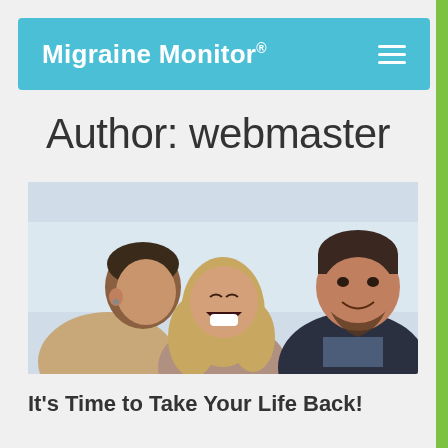Migraine Monitor®
Author: webmaster
[Figure (photo): Three young adults laughing together outdoors; two males and one female, close together, smiling and laughing.]
It’s Time to Take Your Life Back!